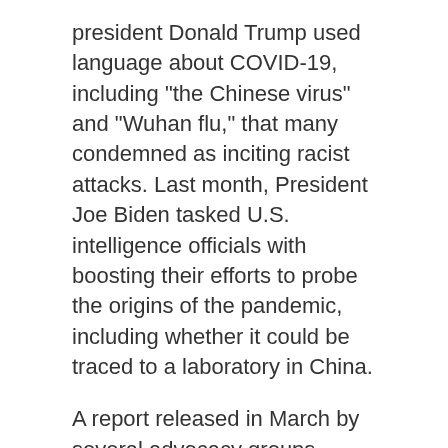president Donald Trump used language about COVID-19, including "the Chinese virus" and "Wuhan flu," that many condemned as inciting racist attacks. Last month, President Joe Biden tasked U.S. intelligence officials with boosting their efforts to probe the origins of the pandemic, including whether it could be traced to a laboratory in China.
A report released in March by several advocacy groups found a disturbing spike in racist incidents against Asian Canadians since the onset of the pandemic, largely in connection with false ideas about coronavirus spread.
Cherie Wong, executive director of Alliance Canada Hong Kong, has experienced hateful